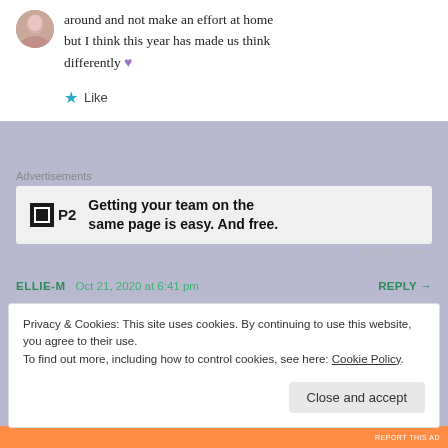around and not make an effort at home but I think this year has made us think differently 💜
Like
Advertisements
[Figure (other): P2 advertisement: Getting your team on the same page is easy. And free.]
REPORT THIS AD
ELLIE-M   Oct 21, 2020 at 6:41 pm   REPLY →
Privacy & Cookies: This site uses cookies. By continuing to use this website, you agree to their use. To find out more, including how to control cookies, see here: Cookie Policy
Close and accept